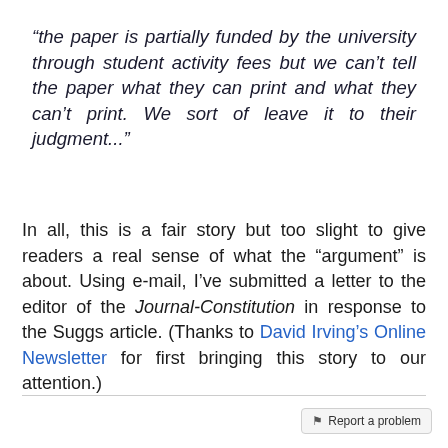"the paper is partially funded by the university through student activity fees but we can't tell the paper what they can print and what they can't print. We sort of leave it to their judgment..."
In all, this is a fair story but too slight to give readers a real sense of what the "argument" is about. Using e-mail, I've submitted a letter to the editor of the Journal-Constitution in response to the Suggs article. (Thanks to David Irving's Online Newsletter for first bringing this story to our attention.)
Report a problem